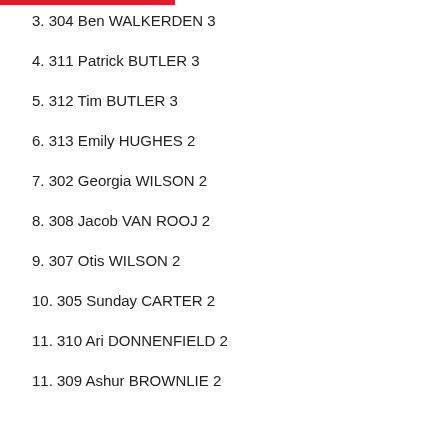3. 304 Ben WALKERDEN 3
4. 311 Patrick BUTLER 3
5. 312 Tim BUTLER 3
6. 313 Emily HUGHES 2
7. 302 Georgia WILSON 2
8. 308 Jacob VAN ROOJ 2
9. 307 Otis WILSON 2
10. 305 Sunday CARTER 2
11. 310 Ari DONNENFIELD 2
11. 309 Ashur BROWNLIE 2